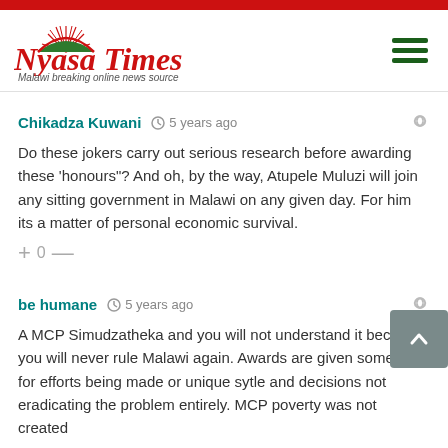[Figure (logo): Nyasa Times logo with red text, sun/arch icon, and tagline 'Malawi breaking online news source']
Chikadza Kuwani · 5 years ago
Do these jokers carry out serious research before awarding these 'honours"? And oh, by the way, Atupele Muluzi will join any sitting government in Malawi on any given day. For him its a matter of personal economic survival.
+0-
be humane · 5 years ago
A MCP Simudzatheka and you will not understand it because you will never rule Malawi again. Awards are given sometimes for efforts being made or unique sytle and decisions not eradicating the problem entirely. MCP poverty was not created